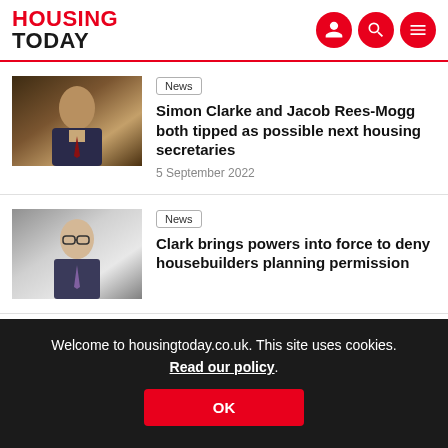HOUSING TODAY
News
Simon Clarke and Jacob Rees-Mogg both tipped as possible next housing secretaries
5 September 2022
News
Clark brings powers into force to deny housebuilders planning permission
Welcome to housingtoday.co.uk. This site uses cookies. Read our policy.
OK